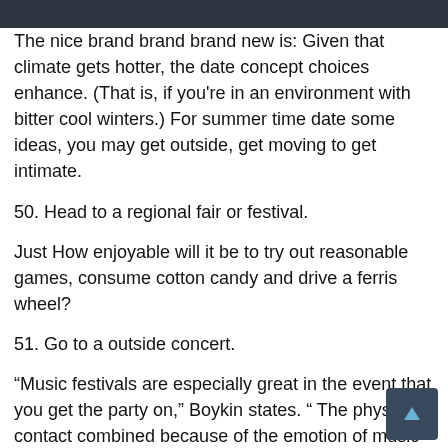[Figure (photo): Dark banner image at the top of the page]
The nice brand brand brand new is: Given that climate gets hotter, the date concept choices enhance. (That is, if you're in an environment with bitter cool winters.) For summer time date some ideas, you may get outside, get moving to get intimate.
50. Head to a regional fair or festival.
Just How enjoyable will it be to try out reasonable games, consume cotton candy and drive a ferris wheel?
51. Go to a outside concert.
“Music festivals are especially great in the event that you get the party on,” Boykin states. “ The physical contact combined because of the emotion of music